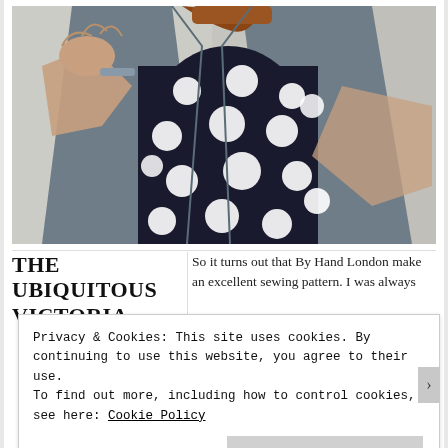[Figure (photo): A woman wearing a black and white polka dot dress under a gray blazer/cardigan, with her hand extended toward the camera. The background is a light neutral/beige color. The image is cropped to show the torso and arms, with the face not visible.]
THE UBIQUITOUS VICTORIA
So it turns out that By Hand London make an excellent sewing pattern. I was always
Privacy & Cookies: This site uses cookies. By continuing to use this website, you agree to their use.
To find out more, including how to control cookies, see here: Cookie Policy
Close and accept